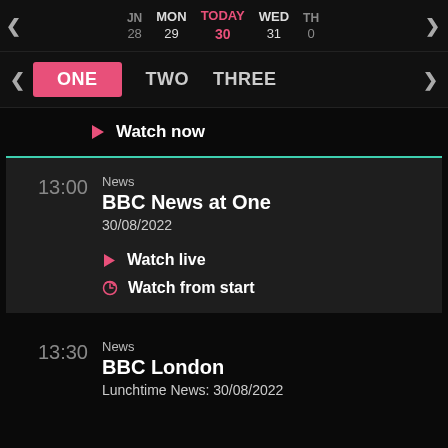< JN 28  MON 29  TODAY 30  WED 31  TH 0  >
< ONE  TWO  THREE  >
Watch now
13:00  News  BBC News at One  30/08/2022  Watch live  Watch from start
13:30  News  BBC London  Lunchtime News: 30/08/2022